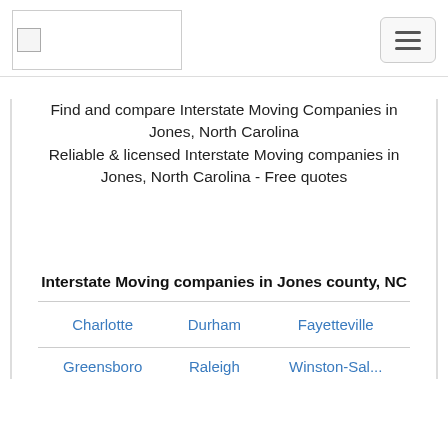[Figure (logo): Website logo placeholder image in top navigation bar]
Find and compare Interstate Moving Companies in Jones, North Carolina
Reliable & licensed Interstate Moving companies in Jones, North Carolina - Free quotes
Interstate Moving companies in Jones county, NC
| Charlotte | Durham | Fayetteville |
| Greensboro | Raleigh | Winston-Sal... |